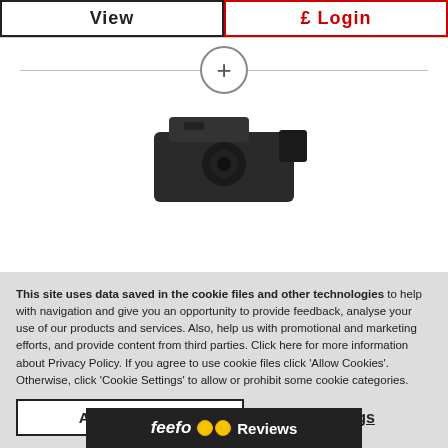View
£ Login
[Figure (illustration): A circle with a plus (+) sign in the center, with a horizontal divider line running through it]
[Figure (photo): A dark/black electronic device or camera component]
This site uses data saved in the cookie files and other technologies to help with navigation and give you an opportunity to provide feedback, analyse your use of our products and services. Also, help us with promotional and marketing efforts, and provide content from third parties. Click here for more information about Privacy Policy. If you agree to use cookie files click 'Allow Cookies'. Otherwise, click 'Cookie Settings' to allow or prohibit some cookie categories.
Allow Cookies
Cookie Settings
feefo Reviews